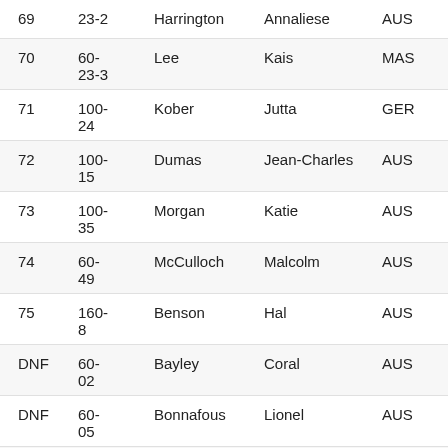| Rank | Bib | Last Name | First Name | NAT |
| --- | --- | --- | --- | --- |
| 69 | 23-2 | Harrington | Annaliese | AUS |
| 70 | 60-23-3 | Lee | Kais | MAS |
| 71 | 100-24 | Kober | Jutta | GER |
| 72 | 100-15 | Dumas | Jean-Charles | AUS |
| 73 | 100-35 | Morgan | Katie | AUS |
| 74 | 60-49 | McCulloch | Malcolm | AUS |
| 75 | 160-8 | Benson | Hal | AUS |
| DNF | 60-02 | Bayley | Coral | AUS |
| DNF | 60-05 | Bonnafous | Lionel | AUS |
| DNF | 60-06 | Brookes | Rowan | NZL |